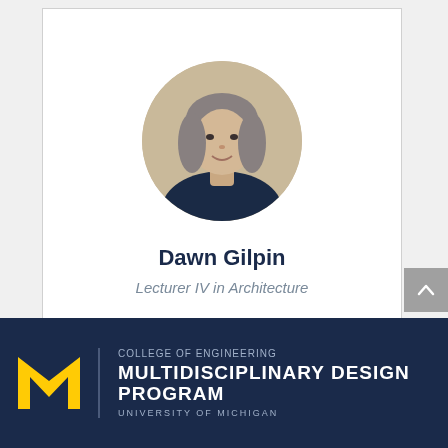[Figure (photo): Circular headshot photo of Dawn Gilpin, a woman with shoulder-length gray-brown hair wearing a dark turtleneck, against a light background]
Dawn Gilpin
Lecturer IV in Architecture
[Figure (logo): University of Michigan College of Engineering Multidisciplinary Design Program logo with block M in gold and program name in white on dark navy background]